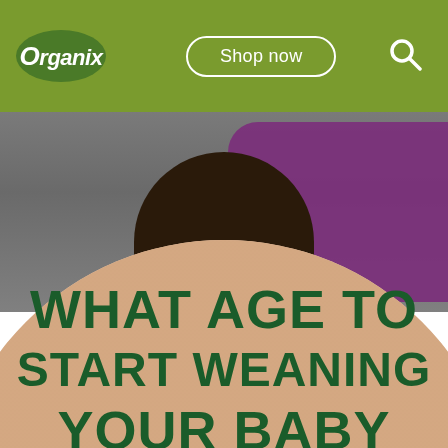Organix | Shop now
[Figure (photo): Close-up of a baby wearing a purple lace top, dark skin, seated, with a large round tan/peach wooden plate or dish in the foreground]
WHAT AGE TO START WEANING YOUR BABY